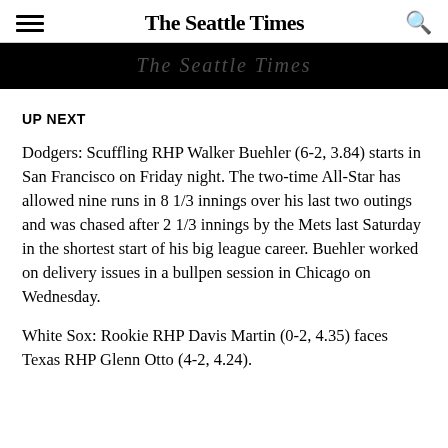The Seattle Times
[Figure (logo): The Seattle Times banner logo on black background]
UP NEXT
Dodgers: Scuffling RHP Walker Buehler (6-2, 3.84) starts in San Francisco on Friday night. The two-time All-Star has allowed nine runs in 8 1/3 innings over his last two outings and was chased after 2 1/3 innings by the Mets last Saturday in the shortest start of his big league career. Buehler worked on delivery issues in a bullpen session in Chicago on Wednesday.
White Sox: Rookie RHP Davis Martin (0-2, 4.35) faces Texas RHP Glenn Otto (4-2, 4.24).